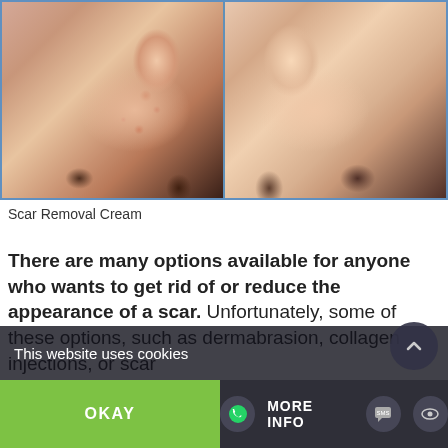[Figure (photo): Before and after comparison photos of a woman's face showing acne scars and blemishes on the left, and clear smooth skin on the right, side by side with a blue dividing line.]
Scar Removal Cream
There are many options available for anyone who wants to get rid of or reduce the appearance of a scar. Unfortunately, some of these options, such as dermabrasion, collagen injections, or scar can be invasive, expens
This website uses cookies
OKAY
MORE INFO